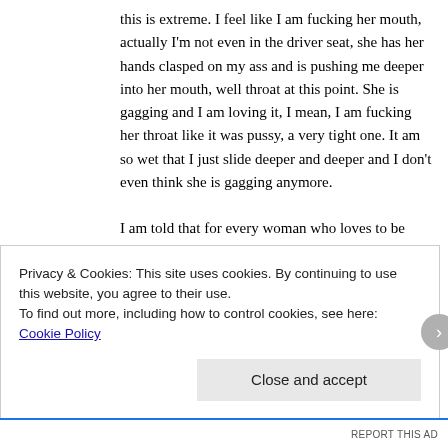this is extreme. I feel like I am fucking her mouth, actually I'm not even in the driver seat, she has her hands clasped on my ass and is pushing me deeper into her mouth, well throat at this point. She is gagging and I am loving it, I mean, I am fucking her throat like it was pussy, a very tight one. It am so wet that I just slide deeper and deeper and I don't even think she is gagging anymore.

I am told that for every woman who loves to be fucked in the throat until she gags; there are five that hate it. This is amazing, I can't wait to return the favor, though I know I'm not going to be able to top her performance, but I am going to worship every inch of
Privacy & Cookies: This site uses cookies. By continuing to use this website, you agree to their use.
To find out more, including how to control cookies, see here: Cookie Policy
Close and accept